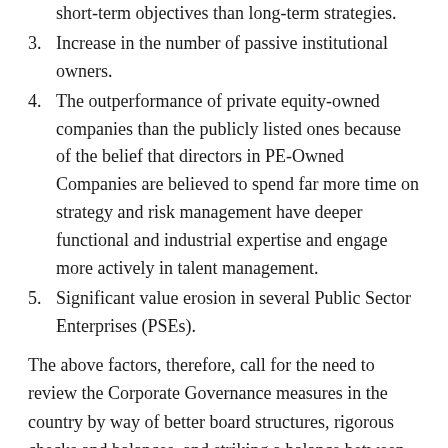short-term objectives than long-term strategies.
3. Increase in the number of passive institutional owners.
4. The outperformance of private equity-owned companies than the publicly listed ones because of the belief that directors in PE-Owned Companies are believed to spend far more time on strategy and risk management have deeper functional and industrial expertise and engage more actively in talent management.
5. Significant value erosion in several Public Sector Enterprises (PSEs).
The above factors, therefore, call for the need to review the Corporate Governance measures in the country by way of better board structures, rigorous checks and balances, and striking a balance between devotion of time to quarterly reviews, audit reports, budgets and matters crucial to the future direction of the business.